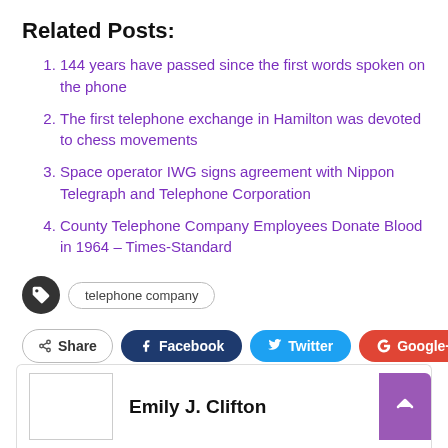Related Posts:
144 years have passed since the first words spoken on the phone
The first telephone exchange in Hamilton was devoted to chess movements
Space operator IWG signs agreement with Nippon Telegraph and Telephone Corporation
County Telephone Company Employees Donate Blood in 1964 – Times-Standard
telephone company
Share  Facebook  Twitter  Google+  +
Emily J. Clifton